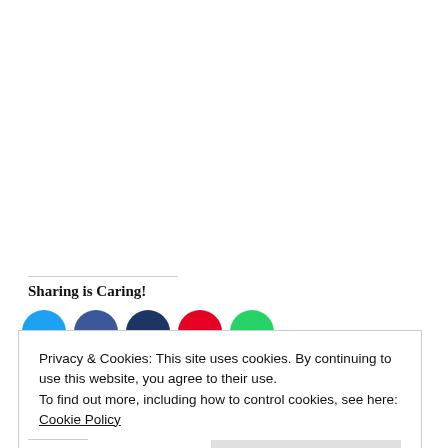Sharing is Caring!
[Figure (illustration): Five social media share buttons as colored circles: Twitter (blue), Facebook (dark blue), LinkedIn (navy), Pinterest (red), WhatsApp (green), partially visible at bottom of page]
Privacy & Cookies: This site uses cookies. By continuing to use this website, you agree to their use.
To find out more, including how to control cookies, see here: Cookie Policy
Close and accept